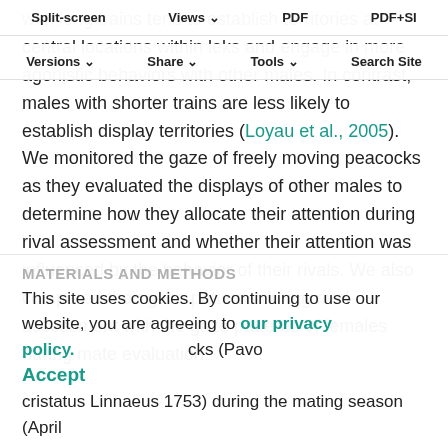Split-screen  Views  PDF  PDF+SI
Versions  Share  Tools  Search Site
with long trains tend to establish territories at central locations within leks and engage in more agonistic behaviors with other males. In contrast, males with shorter trains are less likely to establish display territories (Loyau et al., 2005). We monitored the gaze of freely moving peacocks as they evaluated the displays of other males to determine how they allocate their attention during rival assessment and whether their attention was influenced by the behavior of their rivals. We also compared their gaze patterns during rival assessment with the gaze patterns of females during mate evaluation.
MATERIALS AND METHODS
This site uses cookies. By continuing to use our website, you are agreeing to our privacy policy.
Accept
cks (Pavo cristatus Linnaeus 1753) during the mating season (April